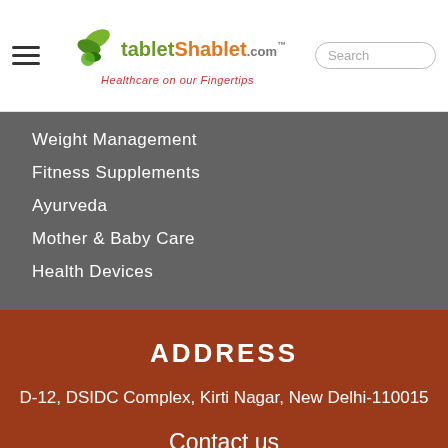[Figure (logo): TabletShablet.com logo with leaf icon and tagline Healthcare on our Fingertips]
Weight Management
Fitness Supplements
Ayurveda
Mother & Baby Care
Health Devices
ADDRESS
D-12, DSIDC Complex, Kirti Nagar, New Delhi-110015
Contact us
+91-8860-874-704 / +91-9555-599-599